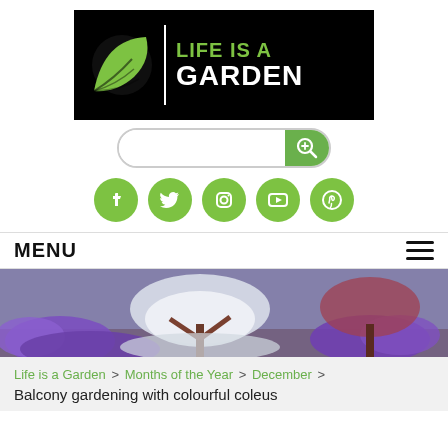[Figure (logo): Life is a Garden logo — black background with green leaf icon and text 'LIFE IS A GARDEN' in green and white]
[Figure (screenshot): Search bar with rounded border and green search button with magnifying glass icon]
[Figure (infographic): Five green circular social media icons: Facebook, Twitter, Instagram, YouTube, Pinterest]
MENU
[Figure (photo): Garden scene with colourful purple and white flowering trees/plants]
Life is a Garden > Months of the Year > December > Balcony gardening with colourful coleus